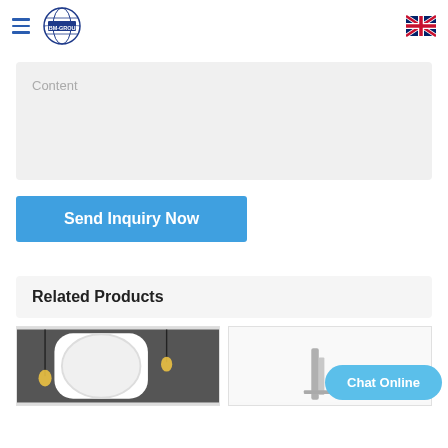[Figure (logo): CBM-Group logo with globe and text]
Content
Send Inquiry Now
Related Products
[Figure (photo): Decorative white ornate mirror with pendant lights in background]
[Figure (photo): Bathroom fixture product photo]
Chat Online